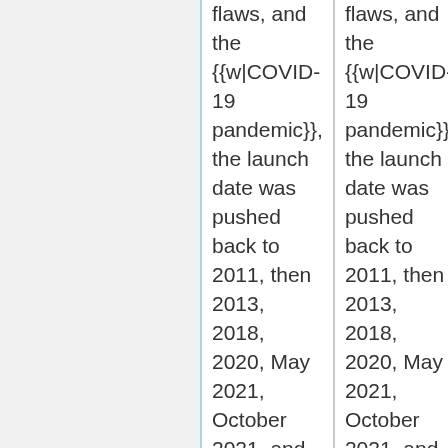flaws, and the {{w|COVID-19 pandemic}}, the launch date was pushed back to 2011, then 2013, 2018, 2020, May 2021, October 2021, and finally to the current launch date in December 2021. It may also allude to post-launch concerns; even if the launch goes well, there will still be
flaws, and the {{w|COVID-19 pandemic}}, the launch date was pushed back to 2011, then 2013, 2018, 2020, May 2021, October 2021, and finally to the current launch date in December 2021. It may also allude to post-launch concerns; even if the launch goes well, there will still be